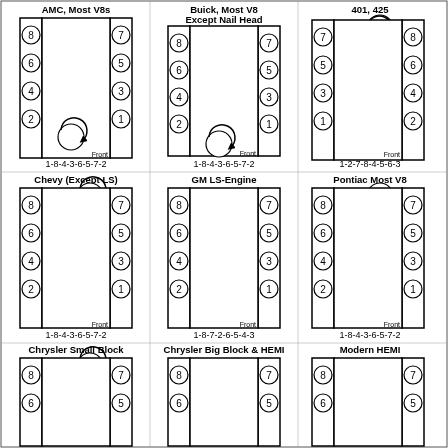[Figure (engineering-diagram): V8 engine firing order diagrams for various makes: AMC Most V8s, Buick Most V8 Except Nail Head, 401/425, Chevy Except LS, GM LS-Engine, Pontiac Most V8, Chrysler Small Block, Chrysler Big Block & HEMI, Modern HEMI. Each diagram shows cylinder numbering layout with rotation direction arrow and firing order sequence.]
AMC, Most V8s — 1-8-4-3-6-5-7-2
Buick, Most V8 Except Nail Head — 1-8-4-3-6-5-7-2
401, 425 — 1-2-7-8-4-5-6-3
Chevy (Except LS) — 1-8-4-3-6-5-7-2
GM LS-Engine — 1-8-7-2-6-5-4-3
Pontiac Most V8 — 1-8-4-3-6-5-7-2
Chrysler Small Block
Chrysler Big Block & HEMI
Modern HEMI